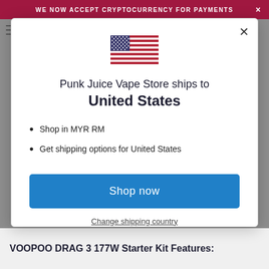WE NOW ACCEPT CRYPTOCURRENCY FOR PAYMENTS
[Figure (illustration): US flag emoji/icon centered in modal]
Punk Juice Vape Store ships to United States
Shop in MYR RM
Get shipping options for United States
Shop now
Change shipping country
VOOPOO DRAG 3 177W Starter Kit Features: